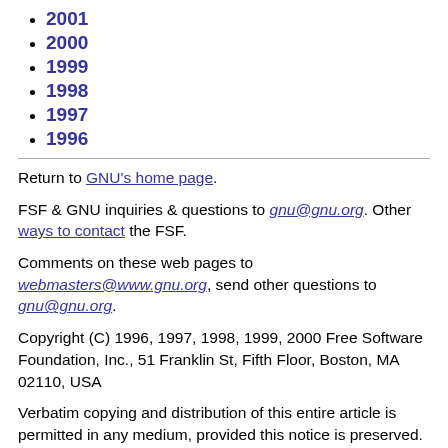2001
2000
1999
1998
1997
1996
Return to GNU's home page.
FSF & GNU inquiries & questions to gnu@gnu.org. Other ways to contact the FSF.
Comments on these web pages to webmasters@www.gnu.org, send other questions to gnu@gnu.org.
Copyright (C) 1996, 1997, 1998, 1999, 2000 Free Software Foundation, Inc., 51 Franklin St, Fifth Floor, Boston, MA 02110, USA
Verbatim copying and distribution of this entire article is permitted in any medium, provided this notice is preserved.
Updated: $Date: 2005/05/05 19:37:19 $ $Author: novalis $